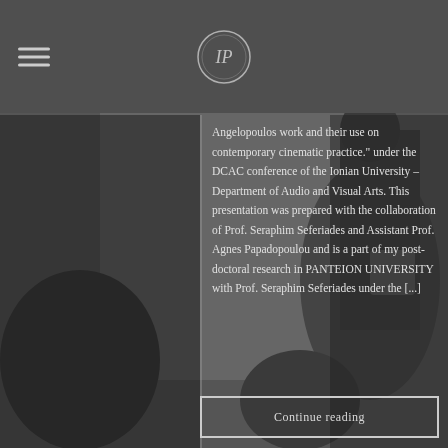[Figure (photo): Dark background photo of people in a room, likely a lecture or conference setting with audio equipment visible. Overlaid with semi-transparent dark panels.]
Angelopoulos work and their use on contemporary cinematic practice." under the DCAC conference of the Ionian University – Department of Audio and Visual Arts. This presentation was prepared with the collaboration of Prof. Seraphim Seferiades and Assistant Prof. Agnes Papadopoulou and is a part of my post-doctoral research in PANTEION UNIVERSITY with Prof. Seraphim Seferiades under the [...]
Continue reading